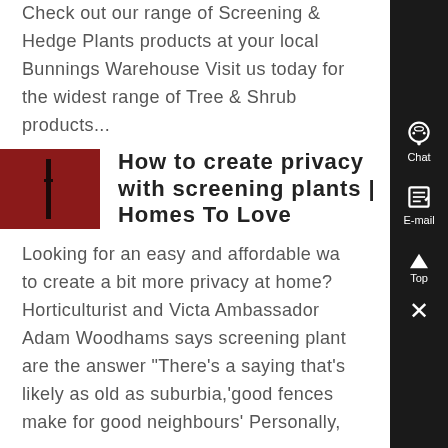Check out our range of Screening & Hedge Plants products at your local Bunnings Warehouse Visit us today for the widest range of Tree & Shrub products...
[Figure (photo): Small thumbnail image showing a dark reddish-brown background with a thin dark vertical object, possibly a plant stem or post.]
How to create privacy with screening plants | Homes To Love
Looking for an easy and affordable way to create a bit more privacy at home? Horticulturist and Victa Ambassador Adam Woodhams says screening plants are the answer "There's a saying that's likely as old as suburbia,'good fences make for good neighbours' Personally,